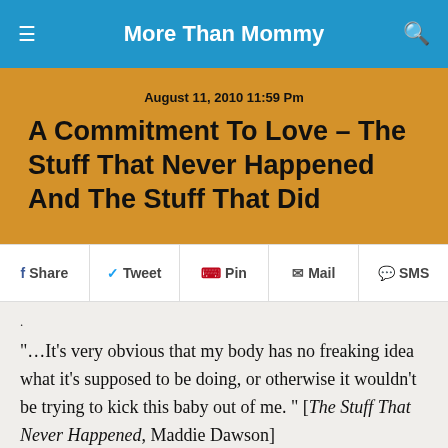More Than Mommy
August 11, 2010 11:59 Pm
A Commitment To Love – The Stuff That Never Happened And The Stuff That Did
Share  Tweet  Pin  Mail  SMS
.
"…It's very obvious that my body has no freaking idea what it's supposed to be doing, or otherwise it wouldn't be trying to kick this baby out of me. " [The Stuff That Never Happened, Maddie Dawson]